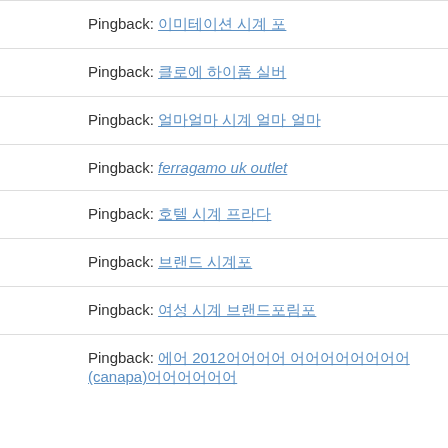Pingback: [Korean text link]
Pingback: [Korean text link]
Pingback: [Korean text link]
Pingback: ferragamo uk outlet
Pingback: [Korean text link]
Pingback: [Korean text link]
Pingback: [Korean text link]
Pingback: [Korean text link with 2012 and canapa]